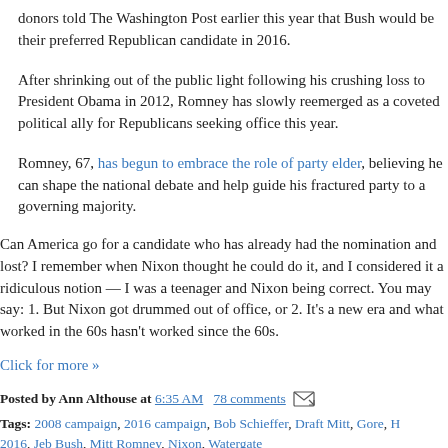donors told The Washington Post earlier this year that Bush would be their preferred Republican candidate in 2016.
After shrinking out of the public light following his crushing loss to President Obama in 2012, Romney has slowly reemerged as a coveted political ally for Republicans seeking office this year.
Romney, 67, has begun to embrace the role of party elder, believing he can shape the national debate and help guide his fractured party to a governing majority.
Can America go for a candidate who has already had the nomination and lost? I remember when Nixon thought he could do it, and I considered it a ridiculous notion — I was a teenager and Nixon being correct. You may say: 1. But Nixon got drummed out of office, or 2. It's a new era and what worked in the 60s hasn't worked since the 60s.
Click for more »
Posted by Ann Althouse at 6:35 AM  78 comments
Tags: 2008 campaign, 2016 campaign, Bob Schieffer, Draft Mitt, Gore, H 2016, Jeb Bush, Mitt Romney, Nixon, Watergate